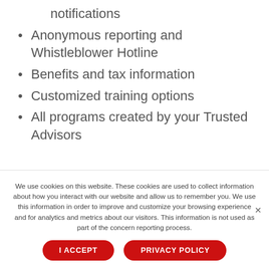notifications
Anonymous reporting and Whistleblower Hotline
Benefits and tax information
Customized training options
All programs created by your Trusted Advisors
We use cookies on this website. These cookies are used to collect information about how you interact with our website and allow us to remember you. We use this information in order to improve and customize your browsing experience and for analytics and metrics about our visitors. This information is not used as part of the concern reporting process.
I ACCEPT | PRIVACY POLICY